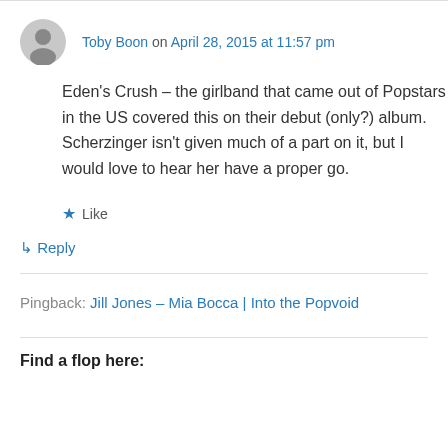Toby Boon on April 28, 2015 at 11:57 pm
Eden's Crush – the girlband that came out of Popstars in the US covered this on their debut (only?) album. Scherzinger isn't given much of a part on it, but I would love to hear her have a proper go.
Like
↳ Reply
Pingback: Jill Jones – Mia Bocca | Into the Popvoid
Find a flop here: